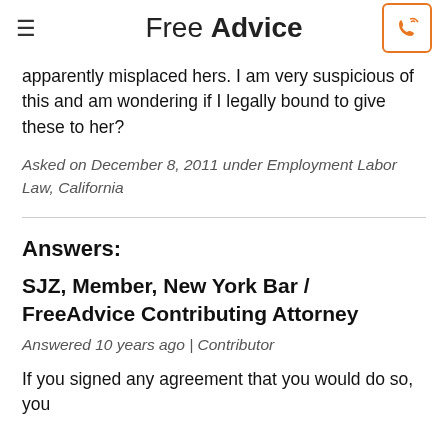Free Advice
apparently misplaced hers. I am very suspicious of this and am wondering if I legally bound to give these to her?
Asked on December 8, 2011 under Employment Labor Law, California
Answers:
SJZ, Member, New York Bar / FreeAdvice Contributing Attorney
Answered 10 years ago | Contributor
If you signed any agreement that you would do so, you